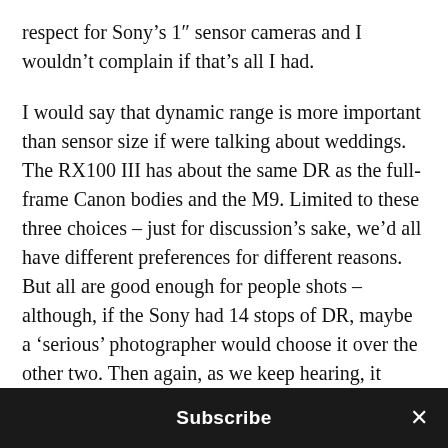respect for Sony's 1" sensor cameras and I wouldn't complain if that's all I had.
I would say that dynamic range is more important than sensor size if were talking about weddings. The RX100 III has about the same DR as the full-frame Canon bodies and the M9. Limited to these three choices – just for discussion's sake, we'd all have different preferences for different reasons. But all are good enough for people shots – although, if the Sony had 14 stops of DR, maybe a 'serious' photographer would choose it over the other two. Then again, as we keep hearing, it doesn't matter what camera you use.
I shot a wedding pro bono with an iPhone recently. I haven't looked at the results (ignorance is bliss) but
Subscribe ×